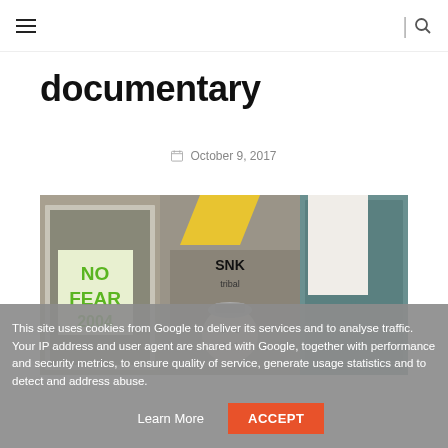Navigation bar with hamburger menu and search icon
documentary
October 9, 2017
[Figure (photo): Street scene showing a storefront with graffiti and a green 'NO FEAR 2004' poster]
This site uses cookies from Google to deliver its services and to analyse traffic. Your IP address and user agent are shared with Google, together with performance and security metrics, to ensure quality of service, generate usage statistics and to detect and address abuse.